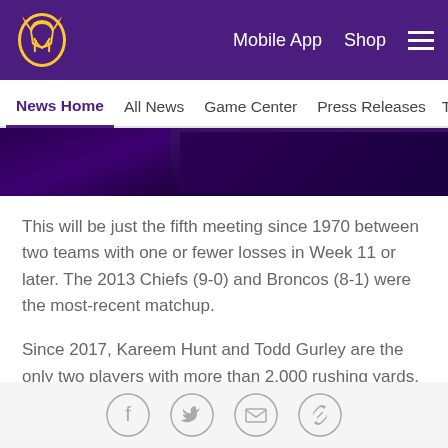Mobile App  Shop  ☰
News Home  All News  Game Center  Press Releases  TCO Per
[Figure (photo): Partial image of a football scene with purple/dark background, cropped at top]
This will be just the fifth meeting since 1970 between two teams with one or fewer losses in Week 11 or later. The 2013 Chiefs (9-0) and Broncos (8-1) were the most-recent matchup.
Since 2017, Kareem Hunt and Todd Gurley are the only two players with more than 2,000 rushing yards.
Chiefs Notes
Patrick Mahomes leads the NFL with 31 touchdown passes and has already topped Len Dawson's Chiefs
[Figure (other): Social share icons: Facebook, Twitter, Email, Link]